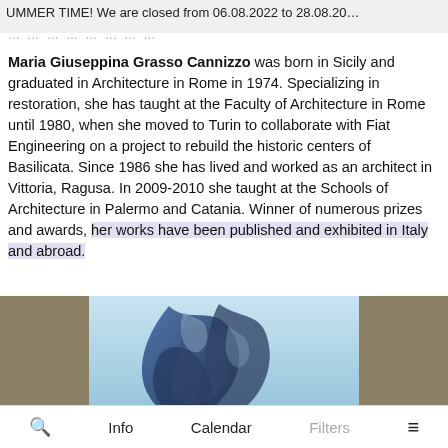UMMER TIME! We are closed from 06.08.2022 to 28.08.20…
… … … … … … … … … …
Maria Giuseppina Grasso Cannizzo was born in Sicily and graduated in Architecture in Rome in 1974. Specializing in restoration, she has taught at the Faculty of Architecture in Rome until 1980, when she moved to Turin to collaborate with Fiat Engineering on a project to rebuild the historic centers of Basilicata. Since 1986 she has lived and worked as an architect in Vittoria, Ragusa. In 2009-2010 she taught at the Schools of Architecture in Palermo and Catania. Winner of numerous prizes and awards, her works have been published and exhibited in Italy and abroad.
[Figure (photo): A projected image showing abstract blue draped fabric or forms against a light blue background, displayed on a screen. The surrounding area shows a brownish/khaki colored wall or surface.]
🔍   Info   Calendar   Filters   ≡